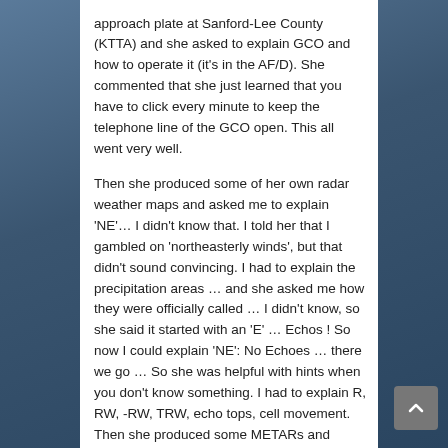approach plate at Sanford-Lee County (KTTA) and she asked to explain GCO and how to operate it (it's in the AF/D). She commented that she just learned that you have to click every minute to keep the telephone line of the GCO open. This all went very well.

Then she produced some of her own radar weather maps and asked me to explain 'NE'… I didn't know that. I told her that I gambled on 'northeasterly winds', but that didn't sound convincing. I had to explain the precipitation areas … and she asked me how they were officially called … I didn't know, so she said it started with an 'E' … Echos ! So now I could explain 'NE': No Echoes … there we go … So she was helpful with hints when you don't know something. I had to explain R, RW, -RW, TRW, echo tops, cell movement. Then she produced some METARs and TAFs. I had to read one aloud and then she asked to explain SPECI, NSW, SKC,